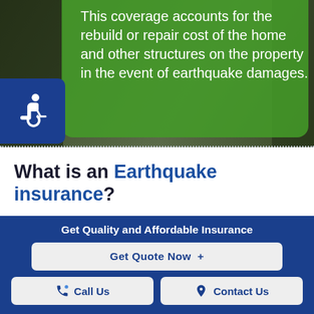[Figure (photo): Hero image showing a home or office setting with a green semi-transparent overlay and accessibility icon. Text overlaid reads: 'This coverage accounts for the rebuild or repair cost of the home and other structures on the property in the event of earthquake damages.']
This coverage accounts for the rebuild or repair cost of the home and other structures on the property in the event of earthquake damages.
What is an Earthquake insurance?
Earthquake insurance covers damage to your
Get Quality and Affordable Insurance
Get Quote Now  +
Call Us
Contact Us